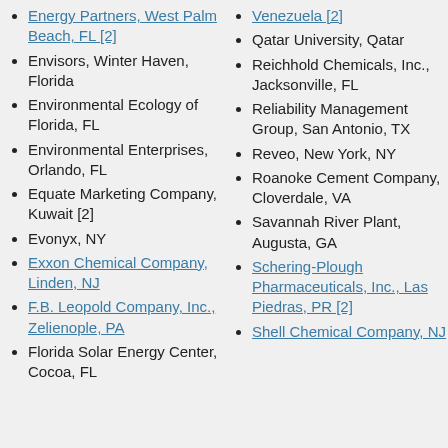Energy Partners, West Palm Beach, FL [2]
Envisors, Winter Haven, Florida
Environmental Ecology of Florida, FL
Environmental Enterprises, Orlando, FL
Equate Marketing Company, Kuwait [2]
Evonyx, NY
Exxon Chemical Company, Linden, NJ
F.B. Leopold Company, Inc., Zelienople, PA
Florida Solar Energy Center, Cocoa, FL
Venezuela [2]
Qatar University, Qatar
Reichhold Chemicals, Inc., Jacksonville, FL
Reliability Management Group, San Antonio, TX
Reveo, New York, NY
Roanoke Cement Company, Cloverdale, VA
Savannah River Plant, Augusta, GA
Schering-Plough Pharmaceuticals, Inc., Las Piedras, PR [2]
Shell Chemical Company, NJ